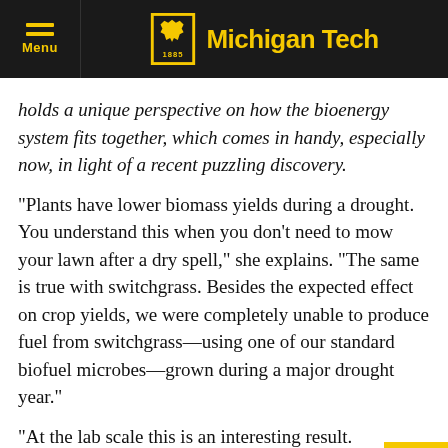Michigan Tech
holds a unique perspective on how the bioenergy system fits together, which comes in handy, especially now, in light of a recent puzzling discovery.
“Plants have lower biomass yields during a drought. You understand this when you don’t need to mow your lawn after a dry spell,” she explains. “The same is true with switchgrass. Besides the expected effect on crop yields, we were completely unable to produce fuel from switchgrass—using one of our standard biofuel microbes—grown during a major drought year.”
“At the lab scale this is an interesting result. But at the industrial scale, this could potentially be